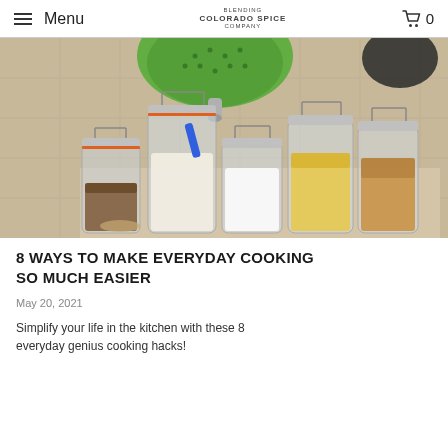Menu | Colorado Spice Company | 0
[Figure (photo): Photo of multiple glass mason jars with swing-top lids filled with various pantry staples such as nuts, grains, flour, sugar, corn flakes, and oats, arranged on a counter with a green colander hanging on the wall behind.]
8 WAYS TO MAKE EVERYDAY COOKING SO MUCH EASIER
May 20, 2021
Simplify your life in the kitchen with these 8 everyday genius cooking hacks!